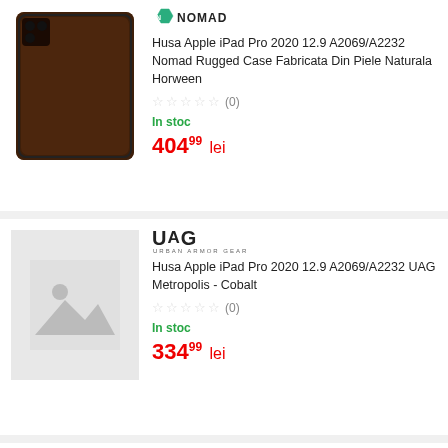[Figure (photo): Nomad brand logo with green hexagon icon and NOMAD text]
Husa Apple iPad Pro 2020 12.9 A2069/A2232 Nomad Rugged Case Fabricata Din Piele Naturala Horween
☆☆☆☆☆ (0)
In stoc
404 99 lei
[Figure (photo): UAG brand logo in bold black letters]
Husa Apple iPad Pro 2020 12.9 A2069/A2232 UAG Metropolis - Cobalt
☆☆☆☆☆ (0)
In stoc
334 99 lei